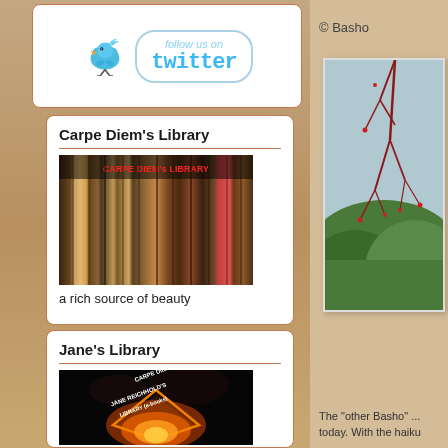[Figure (logo): Follow us on Twitter button with blue bird logo]
Carpe Diem's Library
[Figure (photo): Old antique books with red text overlay CARPE DIEM's LIBRARY]
a rich source of beauty
Jane's Library
[Figure (photo): Fiery diamond with text CARPE DIEM JANE REICHHOLD'S LIBRARY (e-books)]
the e-books by Jane Reichhold
© Basho
[Figure (photo): Photo of red branches against green hillside landscape]
The "other Basho" ... today. With the haiku